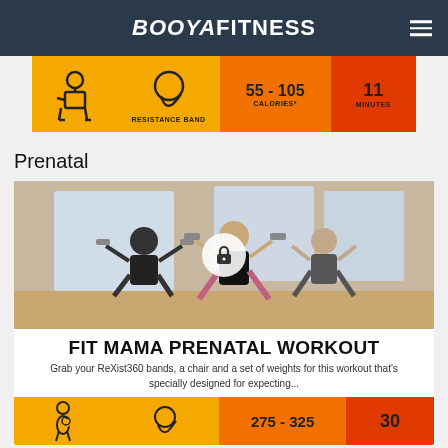BOOYA FITNESS
[Figure (infographic): Workout info strip showing resistance band icon, calories 55-105, and 11 minutes]
Prenatal
[Figure (photo): Three women doing squats with dumbbells in a fitness studio, with a lock icon overlay]
FIT MAMA PRENATAL WORKOUT
Grab your ReXist360 bands, a chair and a set of weights for this workout that's specially designed for expecting...
[Figure (infographic): Workout info strip showing pregnant woman icon, resistance band icon, calories 275-325, and 30 minutes]